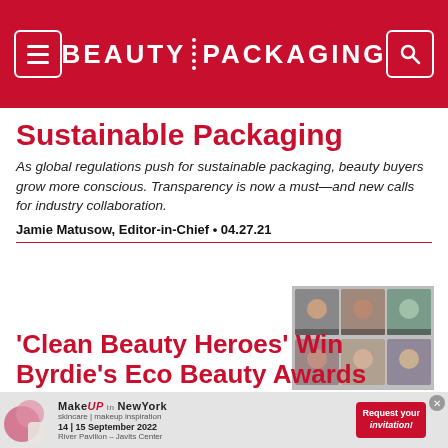BEAUTY PACKAGING
Sustainable Packaging
As global regulations push for sustainable packaging, beauty buyers grow more conscious. Transparency is now a must—and new calls for industry collaboration.
Jamie Matusow, Editor-in-Chief • 04.27.21
[Figure (photo): Grid of video call participants showing multiple women in a virtual meeting screenshot]
'Clean Beauty Heroes' Win Byrdie's Eco Beauty Awards
[Figure (infographic): Advertisement banner for MakeUp in New York event, 14-15 September 2022, River Pavilion – Javits Center, with request for invitation button]